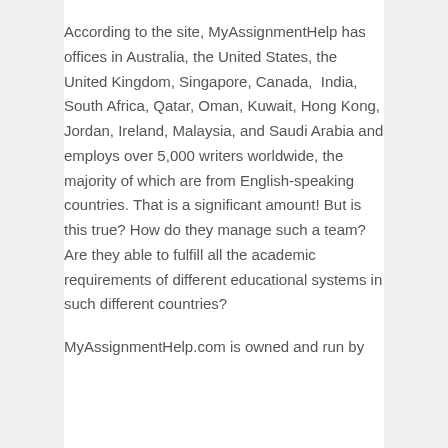According to the site, MyAssignmentHelp has offices in Australia, the United States, the United Kingdom, Singapore, Canada,  India, South Africa, Qatar, Oman, Kuwait, Hong Kong, Jordan, Ireland, Malaysia, and Saudi Arabia and employs over 5,000 writers worldwide, the majority of which are from English-speaking countries. That is a significant amount! But is this true? How do they manage such a team? Are they able to fulfill all the academic requirements of different educational systems in such different countries?
MyAssignmentHelp.com is owned and run by